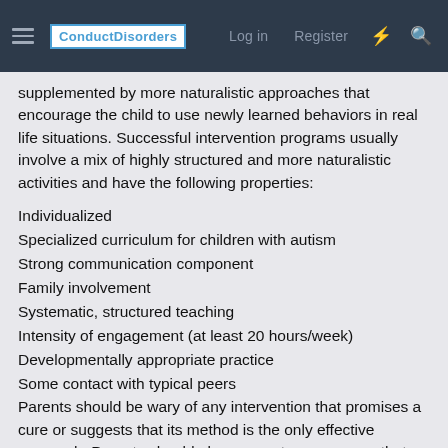ConductDisorders | Log in | Register
supplemented by more naturalistic approaches that encourage the child to use newly learned behaviors in real life situations. Successful intervention programs usually involve a mix of highly structured and more naturalistic activities and have the following properties:
Individualized
Specialized curriculum for children with autism
Strong communication component
Family involvement
Systematic, structured teaching
Intensity of engagement (at least 20 hours/week)
Developmentally appropriate practice
Some contact with typical peers
Parents should be wary of any intervention that promises a cure or suggests that its method is the only effective approach. Parents should also suspect any program that requires parents to personally pay high fees. Children with